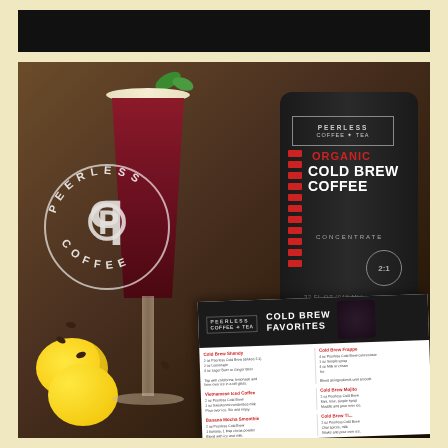[Figure (photo): Product photo of Peerless Coffee & Tea Organic Cold Brew Coffee Concentrate (32 fl oz / 946 ml) bottle next to a cocktail glass garnished with blackberry and mint, with a lemon half and coffee beans. A Peerless logo watermark appears on the left. A recipe card for 'Cold Brew Favorites' is visible in the lower right corner. The image has a black bar at the top and sits on a cream/yellow background.]